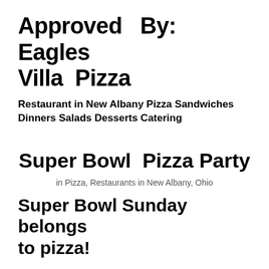Approved By: Eagles Villa Pizza
Restaurant in New Albany Pizza Sandwiches Dinners Salads Desserts Catering
Super Bowl Pizza Party
in Pizza, Restaurants in New Albany, Ohio
Super Bowl Sunday belongs to pizza!
Oh sure, give the wings a nod, but every statistic proves that the Super Bowl is synonymous with